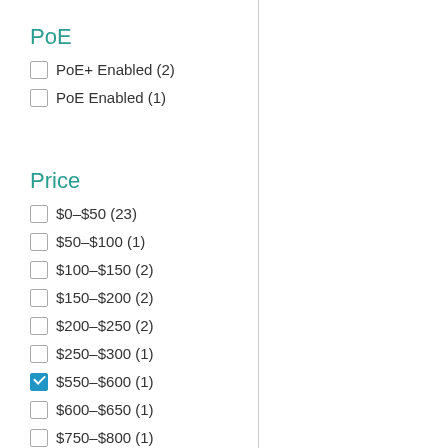PoE
PoE+ Enabled (2)
PoE Enabled (1)
Price
$0–$50 (23)
$50–$100 (1)
$100–$150 (2)
$150–$200 (2)
$200–$250 (2)
$250–$300 (1)
$550–$600 (1)
$600–$650 (1)
$750–$800 (1)
$1,900–$1,950 (1)
Social